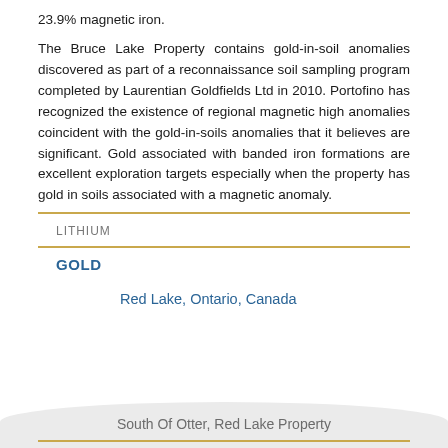23.9% magnetic iron.
The Bruce Lake Property contains gold-in-soil anomalies discovered as part of a reconnaissance soil sampling program completed by Laurentian Goldfields Ltd in 2010. Portofino has recognized the existence of regional magnetic high anomalies coincident with the gold-in-soils anomalies that it believes are significant. Gold associated with banded iron formations are excellent exploration targets especially when the property has gold in soils associated with a magnetic anomaly.
LITHIUM
GOLD
Red Lake, Ontario, Canada
South Of Otter, Red Lake Property